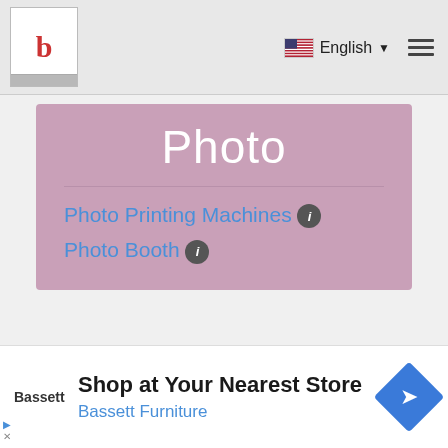b | English ☰
Photo
Photo Printing Machines ℹ
Photo Booth ℹ
[Figure (map): Street map with zoom controls (+, -, fullscreen) and a diagonal yellow road on grey background. A chevron/down arrow appears at bottom left.]
Shop at Your Nearest Store
Bassett Furniture